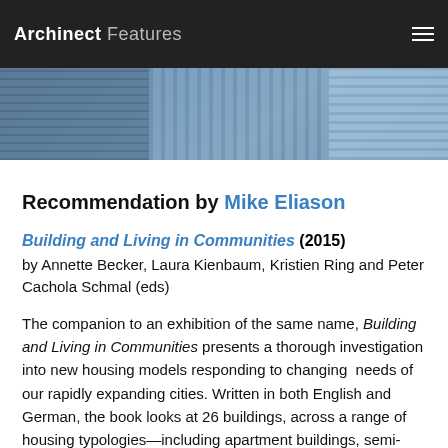Archinect Features
[Figure (photo): Partial view of tall urban skyscrapers/buildings photographed from below against a light sky, shown as a horizontal banner strip]
Recommendation by Mike Eliason
Building and Living in Communities (2015) by Annette Becker, Laura Kienbaum, Kristien Ring and Peter Cachola Schmal (eds)
The companion to an exhibition of the same name, Building and Living in Communities presents a thorough investigation into new housing models responding to changing needs of our rapidly expanding cities. Written in both English and German, the book looks at 26 buildings, across a range of housing typologies—including apartment buildings, semi-detached dwellings, conversions and mixed-use buildings—